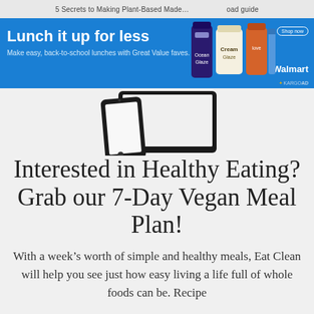5 Secrets to Making Plant-Based Made... ...oad guide
[Figure (screenshot): Walmart advertisement banner: 'Lunch it up for less' - Make easy, back-to-school lunches with Great Value faves. Shop now button. Walmart logo. KARGO AD label. Product images (cream, peanut butter jar, etc.) on blue background.]
[Figure (photo): A smartphone and tablet device partially visible, dark-framed devices on light gray background.]
Interested in Healthy Eating? Grab our 7-Day Vegan Meal Plan!
With a week's worth of simple and healthy meals, Eat Clean will help you see just how easy living a life full of whole foods can be. Recipe